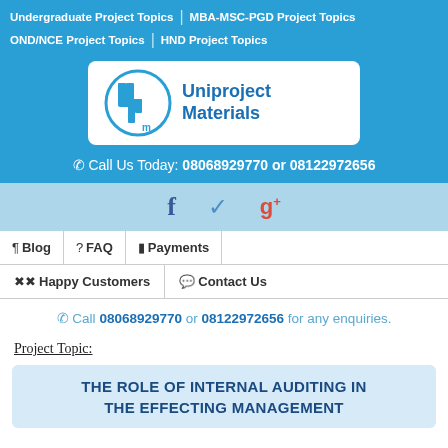Undergraduate Project Topics | MBA-MSC-PGD Project Topics | OND/NCE Project Topics | HND Project Topics
[Figure (logo): Uniproject Materials logo with circular 'Up' emblem in blue on white background, with text 'Uniproject Materials' in blue]
Call Us Today: 08068929770 or 08122972656
[Figure (infographic): Social media icons: Facebook (f), Twitter (bird), Google+ (g+)]
Blog | FAQ | Payments | Happy Customers | Contact Us
Call 08068929770 or 08122972656 for any enquiries.
Project Topic:
THE ROLE OF INTERNAL AUDITING IN THE EFFECTING MANAGEMENT